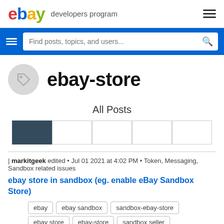[Figure (logo): eBay Developers Program logo with eBay wordmark in multicolor and hamburger menu icon]
[Figure (screenshot): Blue search bar with hamburger menu, search input placeholder 'Find posts, topics, and users...' and magnifier icon]
ebay-store
All Posts
[Figure (other): Tab navigation row with 5 tabs, first tab active (dark blue)]
| markitgeek edited • Jul 01 2021 at 4:02 PM • Token, Messaging, Sandbox related issues
ebay store in sandbox (eg. enable eBay Sandbox Store)
ebay
ebay sandbox
sandbox-ebay-store
ebay store
ebay-store
sandbox seller